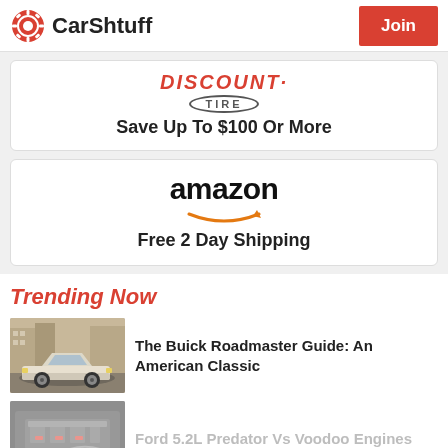CarShtuff | Join
[Figure (logo): Discount Tire logo with red stylized text and oval TIRE badge. Text: Save Up To $100 Or More]
[Figure (logo): Amazon logo with smile arrow. Text: Free 2 Day Shipping]
Trending Now
The Buick Roadmaster Guide: An American Classic
Ford 5.2L Predator Vs Voodoo Engines